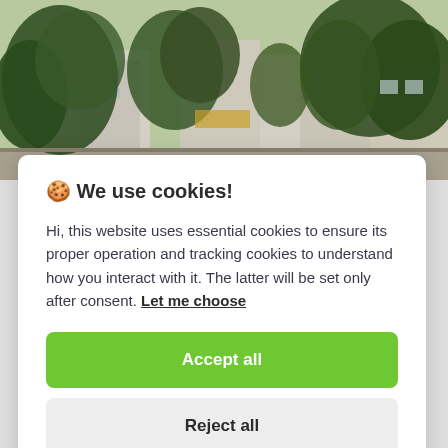[Figure (photo): Outdoor urban scene with trees and buildings visible in the background, daytime.]
🍪 We use cookies!
Hi, this website uses essential cookies to ensure its proper operation and tracking cookies to understand how you interact with it. The latter will be set only after consent. Let me choose
Accept all
Reject all